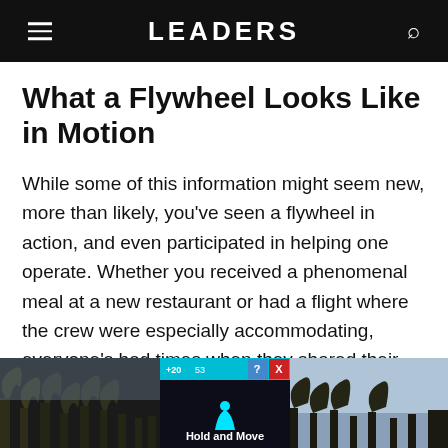LEADERS
What a Flywheel Looks Like in Motion
While some of this information might seem new, more than likely, you've seen a flywheel in action, and even participated in helping one operate. Whether you received a phenomenal meal at a new restaurant or had a flight where the crew were especially accommodating, everyone's had times when they shared their positive customer experiences with others. Although providing amazing
[Figure (screenshot): Advertisement overlay at bottom of page showing a dark banner with 'Hold and Move' text and people icon in cyan, with a cyan top bar showing close buttons, overlaid on a nature/sky photo]